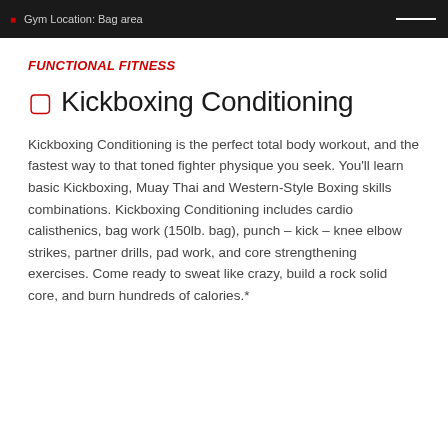Gym Location: Bag area
FUNCTIONAL FITNESS
Kickboxing Conditioning
Kickboxing Conditioning is the perfect total body workout, and the fastest way to that toned fighter physique you seek. You'll learn basic Kickboxing, Muay Thai and Western-Style Boxing skills combinations. Kickboxing Conditioning includes cardio calisthenics, bag work (150lb. bag), punch – kick – knee elbow strikes, partner drills, pad work, and core strengthening exercises. Come ready to sweat like crazy, build a rock solid core, and burn hundreds of calories.*